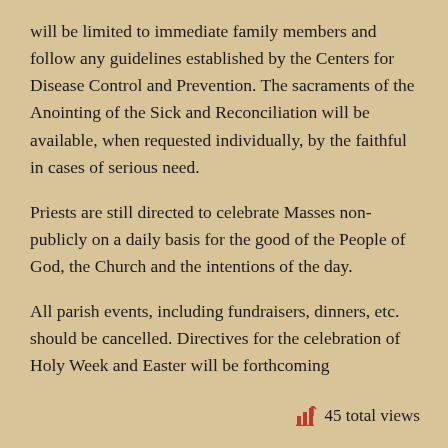will be limited to immediate family members and follow any guidelines established by the Centers for Disease Control and Prevention. The sacraments of the Anointing of the Sick and Reconciliation will be available, when requested individually, by the faithful in cases of serious need.
Priests are still directed to celebrate Masses non-publicly on a daily basis for the good of the People of God, the Church and the intentions of the day.
All parish events, including fundraisers, dinners, etc. should be cancelled. Directives for the celebration of Holy Week and Easter will be forthcoming
45 total views